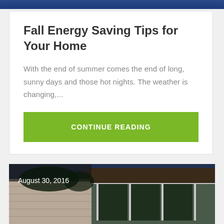Fall Energy Saving Tips for Your Home
With the end of summer comes the end of long, sunny days and those hot nights. The weather is changing,...
CONTINUE READING
[Figure (photo): Exterior photo of a house with large windows and brick facade, taken in August 2016. Overlaid text reads 'August 30, 2016'.]